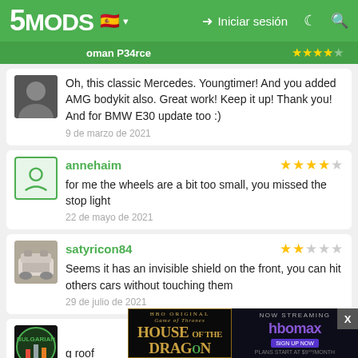5MODS | Iniciar sesión
oman P34rce
Oh, this classic Mercedes. Youngtimer! And you added AMG bodykit also. Great work! Keep it up! Thank you! And for BMW E30 update too :)
9 de marzo de 2021
annehaim
for me the wheels are a bit too small, you missed the stop light
22 de mayo de 2021
satyricon84
Seems it has an invisible shield on the front, you can hit others cars without touching them
29 de julio de 2021
[Figure (screenshot): House of the Dragon HBO Max advertisement overlay at the bottom of the page]